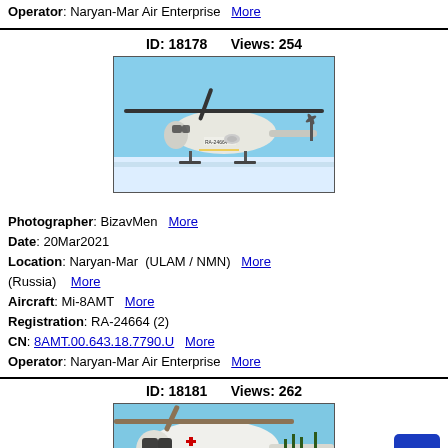Operator: Naryan-Mar Air Enterprise  More
ID: 18178   Views: 254
[Figure (photo): White Mi-8AMT helicopter on snowy ground, blue sky background, registration RA-24664]
Photographer: BizavMen  More
Date: 20Mar2021
Location: Naryan-Mar (ULAM / NMN) More (Russia) More
Aircraft: Mi-8AMT  More
Registration: RA-24664 (2)
CN: 8AMT.00.643.18.7790.U  More
Operator: Naryan-Mar Air Enterprise  More
ID: 18181   Views: 262
[Figure (photo): White Mi-8 helicopter on snowy ground, close-up front view, blue sky]